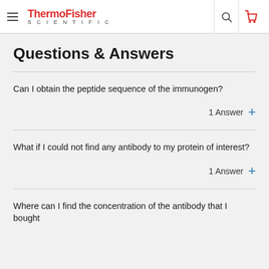ThermoFisher SCIENTIFIC
Questions & Answers
Can I obtain the peptide sequence of the immunogen?
1 Answer +
What if I could not find any antibody to my protein of interest?
1 Answer +
Where can I find the concentration of the antibody that I bought